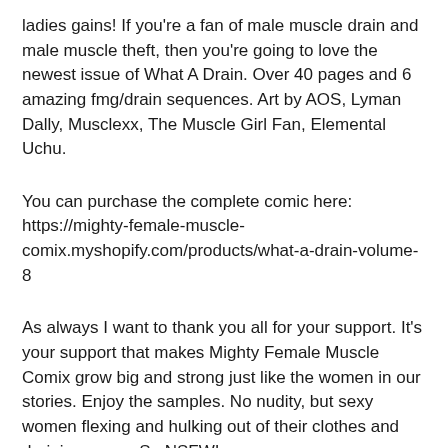ladies gains! If you're a fan of male muscle drain and male muscle theft, then you're going to love the newest issue of What A Drain. Over 40 pages and 6 amazing fmg/drain sequences. Art by AOS, Lyman Dally, Musclexx, The Muscle Girl Fan, Elemental Uchu.
You can purchase the complete comic here: https://mighty-female-muscle-comix.myshopify.com/products/what-a-drain-volume-8
As always I want to thank you all for your support. It's your support that makes Mighty Female Muscle Comix grow big and strong just like the women in our stories. Enjoy the samples. No nudity, but sexy women flexing and hulking out of their clothes and draining men... So NSFW!
https://www.deviantart.com/steeleblazer84/art/What-A-Drain-Vol-8-Sample-1-919527657
https://www.deviantart.com/steeleblazer84/art/What-A-Drain-